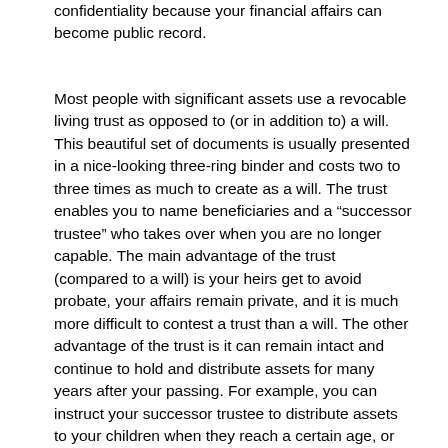confidentiality because your financial affairs can become public record.
Most people with significant assets use a revocable living trust as opposed to (or in addition to) a will. This beautiful set of documents is usually presented in a nice-looking three-ring binder and costs two to three times as much to create as a will. The trust enables you to name beneficiaries and a “successor trustee” who takes over when you are no longer capable. The main advantage of the trust (compared to a will) is your heirs get to avoid probate, your affairs remain private, and it is much more difficult to contest a trust than a will. The other advantage of the trust is it can remain intact and continue to hold and distribute assets for many years after your passing. For example, you can instruct your successor trustee to distribute assets to your children when they reach a certain age, or distribute the assets over a period of years. Another popular strategy is to name an income beneficiary, who gets the income from